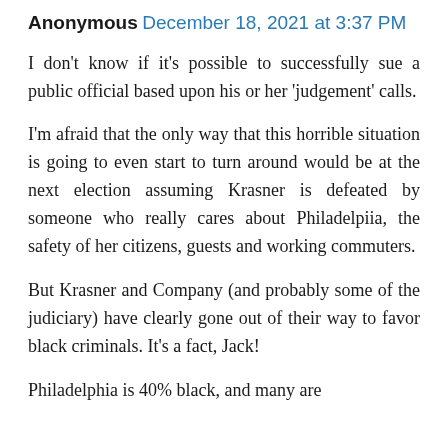Anonymous December 18, 2021 at 3:37 PM
I don't know if it's possible to successfully sue a public official based upon his or her 'judgement' calls.
I'm afraid that the only way that this horrible situation is going to even start to turn around would be at the next election assuming Krasner is defeated by someone who really cares about Philadelpiia, the safety of her citizens, guests and working commuters.
But Krasner and Company (and probably some of the judiciary) have clearly gone out of their way to favor black criminals. It's a fact, Jack!
Philadelphia is 40% black, and many are